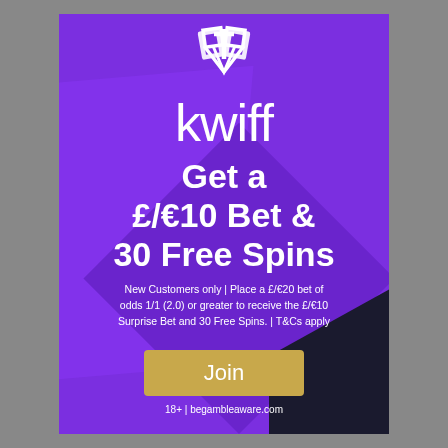[Figure (logo): Kwiff logo — decorative crown/diamond outline in white at top of purple ad banner]
kwiff
Get a £/€10 Bet & 30 Free Spins
New Customers only | Place a £/€20 bet of odds 1/1 (2.0) or greater to receive the £/€10 Surprise Bet and 30 Free Spins. | T&Cs apply
Join
18+ | begambleaware.com